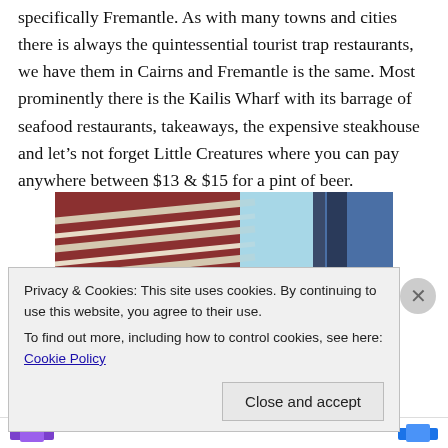specifically Fremantle. As with many towns and cities there is always the quintessential tourist trap restaurants, we have them in Cairns and Fremantle is the same. Most prominently there is the Kailis Wharf with its barrage of seafood restaurants, takeaways, the expensive steakhouse and let's not forget Little Creatures where you can pay anywhere between $13 & $15 for a pint of beer.
[Figure (photo): Close-up photograph of a red brick building facade with white horizontal architectural details/cornices against a blue sky and a dark window/column on the right.]
Privacy & Cookies: This site uses cookies. By continuing to use this website, you agree to their use.
To find out more, including how to control cookies, see here: Cookie Policy
Close and accept